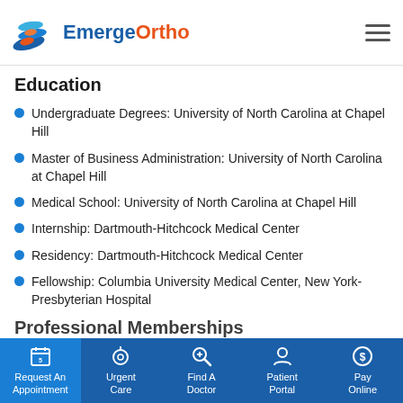EmergeOrtho
Education
Undergraduate Degrees: University of North Carolina at Chapel Hill
Master of Business Administration: University of North Carolina at Chapel Hill
Medical School: University of North Carolina at Chapel Hill
Internship: Dartmouth-Hitchcock Medical Center
Residency: Dartmouth-Hitchcock Medical Center
Fellowship: Columbia University Medical Center, New York-Presbyterian Hospital
Professional Memberships
Request An Appointment | Urgent Care | Find A Doctor | Patient Portal | Pay Online